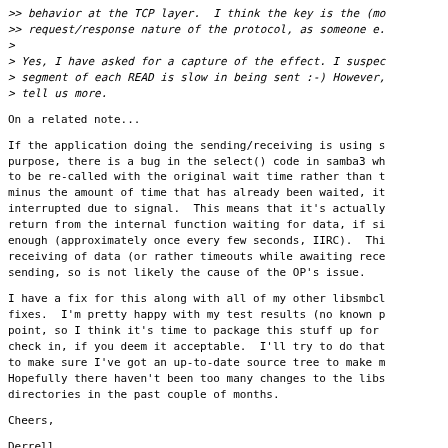>> behavior at the TCP layer.  I think the key is the (mo
>> request/response nature of the protocol, as someone e.
>
> Yes, I have asked for a capture of the effect. I suspec
> segment of each READ is slow in being sent :-) However,
> tell us more.
On a related note...
If the application doing the sending/receiving is using s
purpose, there is a bug in the select() code in samba3 wh
to be re-called with the original wait time rather than t
minus the amount of time that has already been waited, it
interrupted due to signal.  This means that it's actually
return from the internal function waiting for data, if si
enough (approximately once every few seconds, IIRC).  Thi
receiving of data (or rather timeouts while awaiting rece
sending, so is not likely the cause of the OP's issue.
I have a fix for this along with all of my other libsmbcl
fixes.  I'm pretty happy with my test results (no known p
point, so I think it's time to package this stuff up for
check in, if you deem it acceptable.  I'll try to do that
to make sure I've got an up-to-date source tree to make m
Hopefully there haven't been too many changes to the libs
directories in the past couple of months.
Cheers,
Derrell